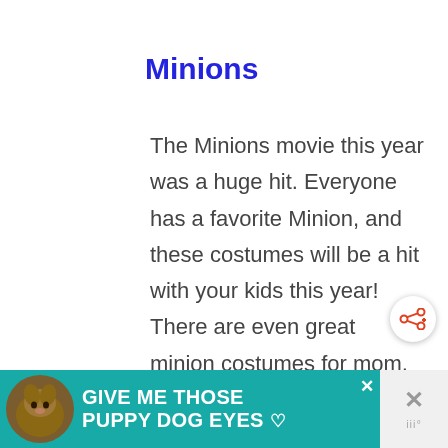Minions
The Minions movie this year was a huge hit. Everyone has a favorite Minion, and these costumes will be a hit with your kids this year! There are even great minion costumes for mom, dad and the dog! Everything yellow and blue screams Minions this year!
[Figure (other): Share button icon — circular white button with orange share/network icon]
[Figure (other): Advertisement banner: teal background with dog photo and text 'GIVE ME THOSE PUPPY DOG EYES']